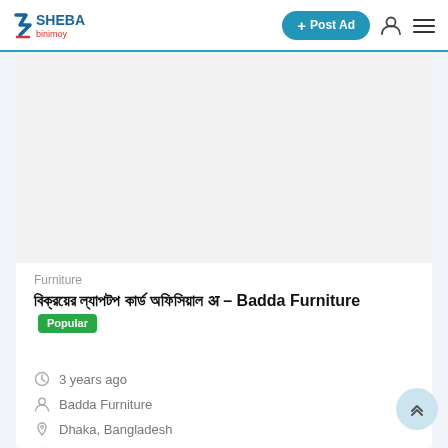SHEBA binimoy — + Post Ad
[Figure (photo): White/light grey image placeholder area for furniture listing]
Furniture
অফিসিয়াল চেয়ার টেবিল অফিসিয়াল এ – Badda Furniture  Popular
3 years ago
Badda Furniture
Dhaka, Bangladesh
1,699 Views